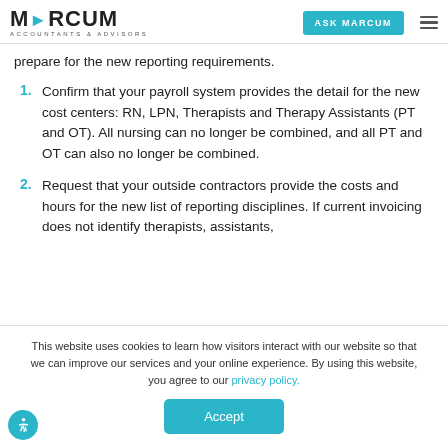MARCUM ACCOUNTANTS & ADVISORS | ASK MARCUM
prepare for the new reporting requirements.
1. Confirm that your payroll system provides the detail for the new cost centers: RN, LPN, Therapists and Therapy Assistants (PT and OT). All nursing can no longer be combined, and all PT and OT can also no longer be combined.
2. Request that your outside contractors provide the costs and hours for the new list of reporting disciplines. If current invoicing does not identify therapists, assistants,
This website uses cookies to learn how visitors interact with our website so that we can improve our services and your online experience. By using this website, you agree to our privacy policy.